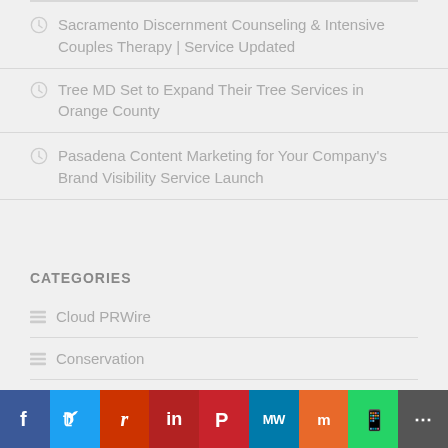Sacramento Discernment Counseling & Intensive Couples Therapy | Service Updated
Tree MD Set to Expand Their Tree Services in Orange County
Pasadena Content Marketing for Your Company's Brand Visibility Service Launch
CATEGORIES
Cloud PRWire
Conservation
Lifestyle
f  Twitter  Reddit  in  Pinterest  MW  Mix  WhatsApp  More